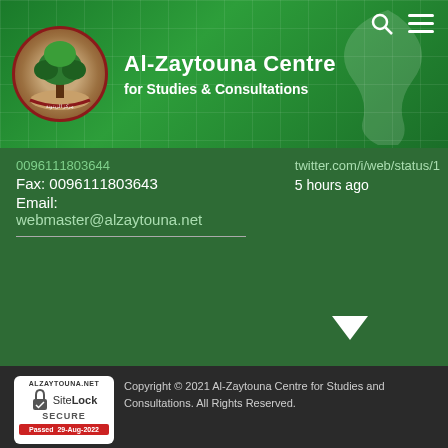Al-Zaytouna Centre for Studies & Consultations
Fax: 0096111803643
Email:
webmaster@alzaytouna.net
twitter.com/i/web/status/1
5 hours ago
[Figure (logo): SiteLock SECURE badge - ALZAYTOUNA.NET - Passed 29-Aug-2022]
Copyright © 2021 Al-Zaytouna Centre for Studies and Consultations. All Rights Reserved.